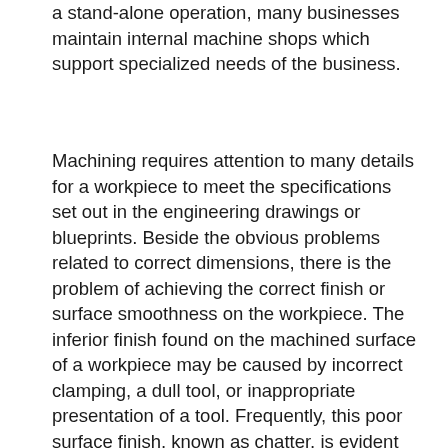a stand-alone operation, many businesses maintain internal machine shops which support specialized needs of the business.
Machining requires attention to many details for a workpiece to meet the specifications set out in the engineering drawings or blueprints. Beside the obvious problems related to correct dimensions, there is the problem of achieving the correct finish or surface smoothness on the workpiece. The inferior finish found on the machined surface of a workpiece may be caused by incorrect clamping, a dull tool, or inappropriate presentation of a tool. Frequently, this poor surface finish, known as chatter, is evident by an undulating or irregular finish, and the appearance of waves on the machined surfaces of the workpiece.